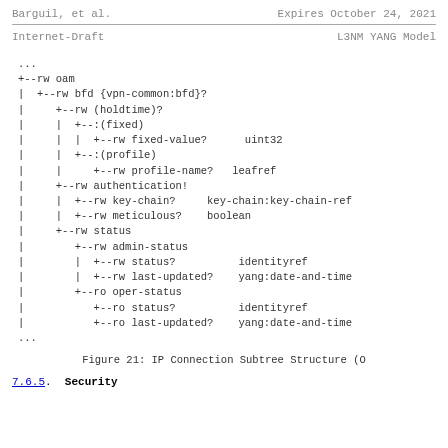Barguil, et al.        Expires October 24, 2021
Internet-Draft                      L3NM YANG Model
...
+--rw oam
|  +--rw bfd {vpn-common:bfd}?
|     +--rw (holdtime)?
|     |  +--:(fixed)
|     |  |  +--rw fixed-value?      uint32
|     |  +--:(profile)
|     |     +--rw profile-name?   leafref
|     +--rw authentication!
|     |  +--rw key-chain?     key-chain:key-chain-ref
|     |  +--rw meticulous?    boolean
|     +--rw status
|        +--rw admin-status
|        |  +--rw status?          identityref
|        |  +--rw last-updated?    yang:date-and-time
|        +--ro oper-status
|           +--ro status?          identityref
|           +--ro last-updated?    yang:date-and-time
...
Figure 21: IP Connection Subtree Structure (O
7.6.5.  Security